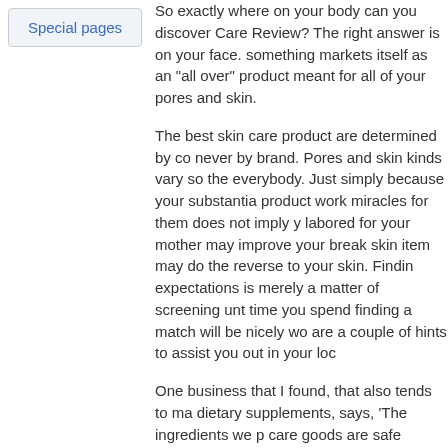Special pages
So exactly where on your body can you discover Care Review? The right answer is on your face. something markets itself as an "all over" product meant for all of your pores and skin.
The best skin care product are determined by co never by brand. Pores and skin kinds vary so the everybody. Just simply because your substantia product work miracles for them does not imply y labored for your mother may improve your break skin item may do the reverse to your skin. Findin expectations is merely a matter of screening unt time you spend finding a match will be nicely wo are a couple of hints to assist you out in your loc
One business that I found, that also tends to ma dietary supplements, says, 'The ingredients we p care goods are safe enough to eat'. Now that is to discover. Judging from the results I get, I sure
Your skin is the biggest organ you have. You rec you take care of your eyes, your coronary heart physique. Having a deadly pores and skin ailme demo that one will go via. For certain no one des require to totally free your pores and skin from a substances which are extremely common in ma